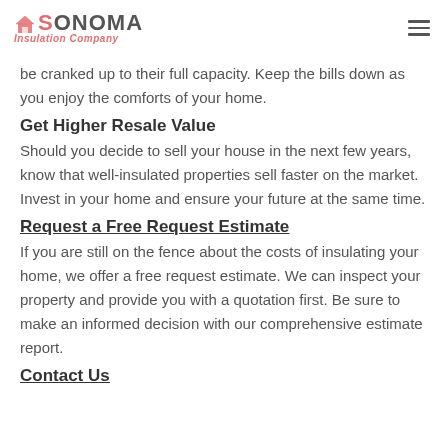SONOMA Insulation Company
be cranked up to their full capacity. Keep the bills down as you enjoy the comforts of your home.
Get Higher Resale Value
Should you decide to sell your house in the next few years, know that well-insulated properties sell faster on the market. Invest in your home and ensure your future at the same time.
Request a Free Request Estimate
If you are still on the fence about the costs of insulating your home, we offer a free request estimate. We can inspect your property and provide you with a quotation first. Be sure to make an informed decision with our comprehensive estimate report.
Contact Us